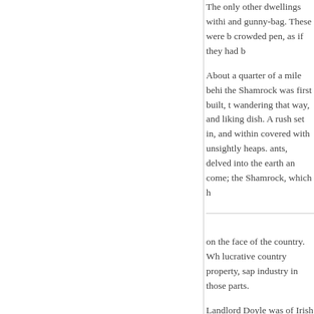The only other dwellings within and gunny-bag. These were b crowded pen, as if they had b
About a quarter of a mile behi the Shamrock was first built, t wandering that way, and liking dish. A rush set in, and within covered with unsightly heaps. ants, delved into the earth an come; the Shamrock, which h
on the face of the country. Wh lucrative country property, sap industry in those parts.
Landlord Doyle was of Irish e not proud — he assumed no r in his family, and that his pate and a little red, humorous fac the premises, and always cor plans and specifications of he round, peering about discont